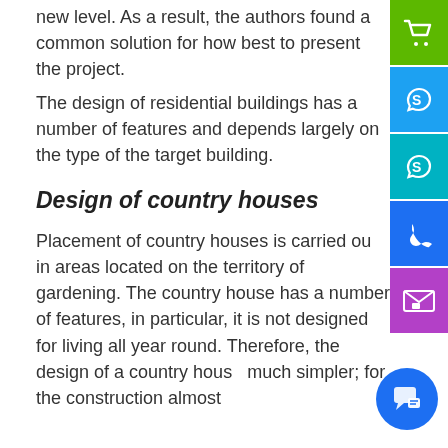new level. As a result, the authors found a common solution for how best to present the project.
The design of residential buildings has a number of features and depends largely on the type of the target building.
Design of country houses
Placement of country houses is carried out in areas located on the territory of gardening. The country house has a number of features, in particular, it is not designed for living all year round. Therefore, the design of a country house is much simpler; for the construction almost